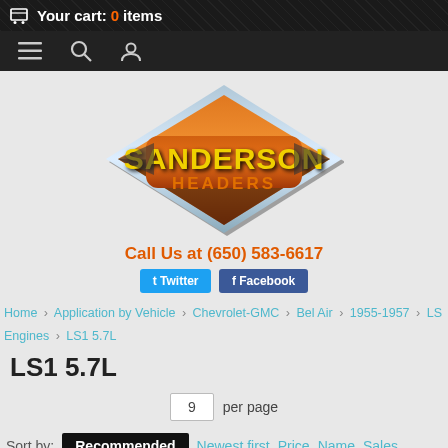Your cart: 0 items
[Figure (logo): Sanderson Headers logo — orange diamond shape with 'SANDERSON' in yellow and 'HEADERS' in orange text]
Call Us at (650) 583-6617
Twitter  Facebook
Home › Application by Vehicle › Chevrolet-GMC › Bel Air › 1955-1957 › LS Engines › LS1 5.7L
LS1 5.7L
9 per page
Sort by: Recommended  Newest first  Price  Name  Sales